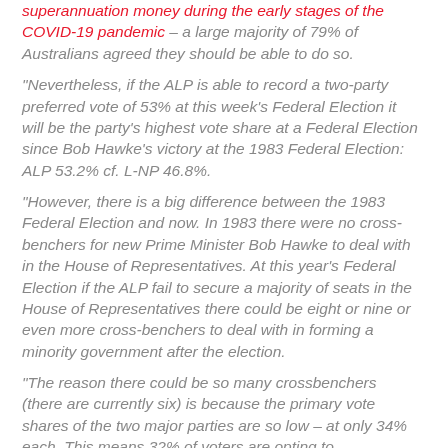superannuation money during the early stages of the COVID-19 pandemic – a large majority of 79% of Australians agreed they should be able to do so.
“Nevertheless, if the ALP is able to record a two-party preferred vote of 53% at this week’s Federal Election it will be the party’s highest vote share at a Federal Election since Bob Hawke’s victory at the 1983 Federal Election: ALP 53.2% cf. L-NP 46.8%.
“However, there is a big difference between the 1983 Federal Election and now. In 1983 there were no cross-benchers for new Prime Minister Bob Hawke to deal with in the House of Representatives. At this year’s Federal Election if the ALP fail to secure a majority of seats in the House of Representatives there could be eight or nine or even more cross-benchers to deal with in forming a minority government after the election.
“The reason there could be so many crossbenchers (there are currently six) is because the primary vote shares of the two major parties are so low – at only 34% each. This means 32% of voters are opting to